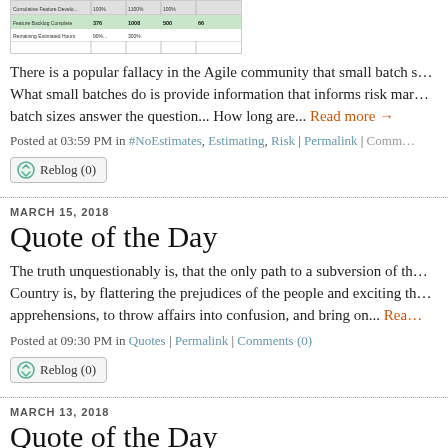[Figure (table-as-image): Small screenshot of a table with project/task data including columns for completion status]
There is a popular fallacy in the Agile community that small batch s… What small batches do is provide information that informs risk ma… batch sizes answer the question... How long are... Read more →
Posted at 03:59 PM in #NoEstimates, Estimating, Risk | Permalink | Comm…
Reblog (0)
MARCH 15, 2018
Quote of the Day
The truth unquestionably is, that the only path to a subversion of th… Country is, by flattering the prejudices of the people and exciting th… apprehensions, to throw affairs into confusion, and bring on... Read more →
Posted at 09:30 PM in Quotes | Permalink | Comments (0)
Reblog (0)
MARCH 13, 2018
Quote of the Day